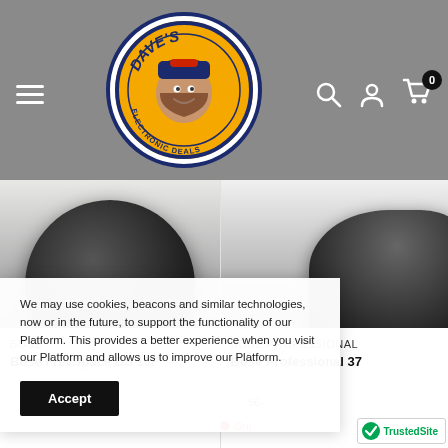[Figure (logo): Dave's Electronic Deals logo - circular logo with cartoon man wearing baseball cap, orange background with blue border text reading DAVE'S ELECTRONIC DEALS]
[Figure (photo): Bose FreeSpace DS 16F speaker product image - dark circular speaker viewed from front]
BOSE
Bose FreeSpace DS 16F
[Figure (photo): Bose Professional 37 speaker product image - partial dark object]
BOSE PROFESSIONAL
Bose Professional 37
We may use cookies, beacons and similar technologies, now or in the future, to support the functionality of our Platform. This provides a better experience when you visit our Platform and allows us to improve our Platform.
Accept
56-
Onl
[Figure (logo): TrustedSite badge with green checkmark]